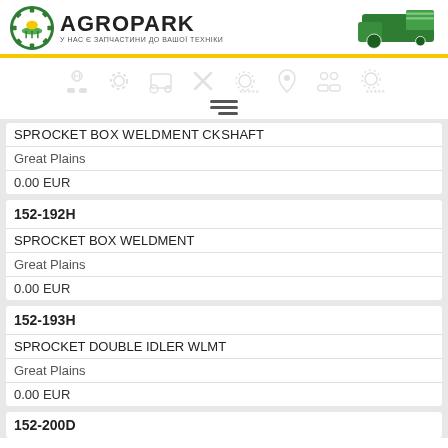[Figure (logo): Agropark logo with gear and crop icon, green tractor/harvester image on right]
SPROCKET BOX WELDMENT CRANKSHAFT | Great Plains | 0.00 EUR
152-192H | SPROCKET BOX WELDMENT | Great Plains | 0.00 EUR
152-193H | SPROCKET DOUBLE IDLER WLMT | Great Plains | 0.00 EUR
152-200D (partial)